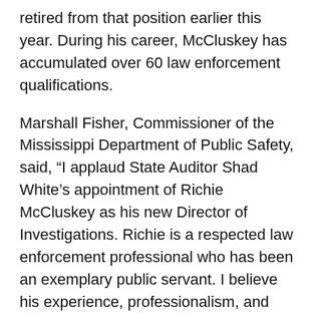retired from that position earlier this year. During his career, McCluskey has accumulated over 60 law enforcement qualifications.
Marshall Fisher, Commissioner of the Mississippi Department of Public Safety, said, “I applaud State Auditor Shad White’s appointment of Richie McCluskey as his new Director of Investigations. Richie is a respected law enforcement professional who has been an exemplary public servant. I believe his experience, professionalism, and integrity will serve the state of Mississippi well.”
“What attracted me to the State Auditors Office is the leadership and agency’s commitment to staying at the